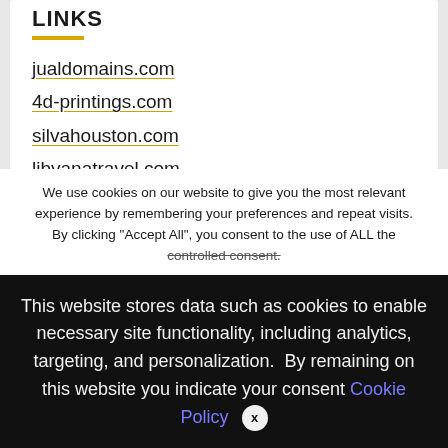LINKS
jualdomains.com
4d-printings.com
silvahouston.com
libyanatravel.com
ownalaptop.com
omnih.net
We use cookies on our website to give you the most relevant experience by remembering your preferences and repeat visits. By clicking "Accept All", you consent to the use of ALL the controlled consent.
This website stores data such as cookies to enable necessary site functionality, including analytics, targeting, and personalization. By remaining on this website you indicate your consent Cookie Policy